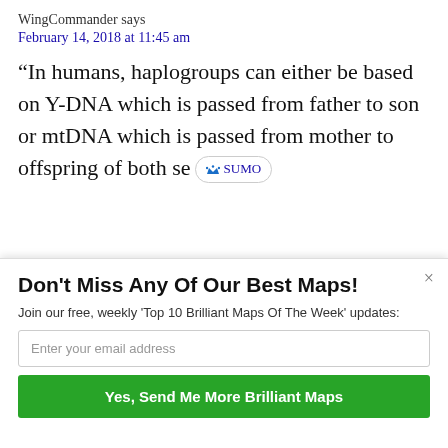WingCommander says
February 14, 2018 at 11:45 am
“In humans, haplogroups can either be based on Y-DNA which is passed from father to son or mtDNA which is passed from mother to offspring of both se…
Don’t Miss Any Of Our Best Maps!
Join our free, weekly ‘Top 10 Brilliant Maps Of The Week’ updates:
Enter your email address
Yes, Send Me More Brilliant Maps